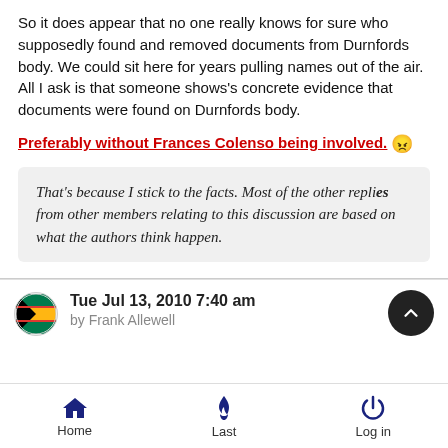So it does appear that no one really knows for sure who supposedly found and removed documents from Durnfords body. We could sit here for years pulling names out of the air. All I ask is that someone shows's concrete evidence that documents were found on Durnfords body.
Preferably without Frances Colenso being involved. 😠
That's because I stick to the facts. Most of the other replies from other members relating to this discussion are based on what the authors think happen.
Tue Jul 13, 2010 7:40 am
by Frank Allewell
Home  Last  Log in